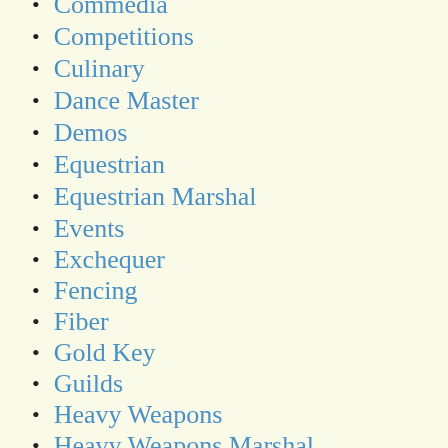Commedia
Competitions
Culinary
Dance Master
Demos
Equestrian
Equestrian Marshal
Events
Exchequer
Fencing
Fiber
Gold Key
Guilds
Heavy Weapons
Heavy Weapons Marshal
Knight Marshal
M. of Lists